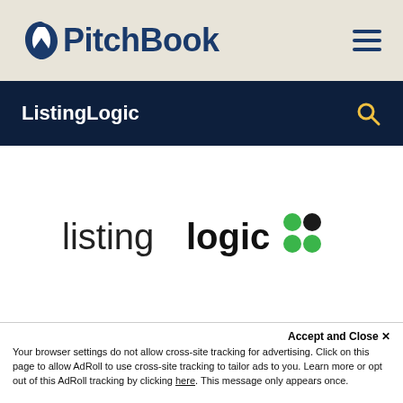[Figure (logo): PitchBook logo with leaf/feather icon and bold dark blue text on beige header bar]
ListingLogic
[Figure (logo): ListingLogic company logo: light-weight 'listing' text followed by bold 'logic' text with colored dot grid (green dots and black dot)]
Accept and Close ✕
Your browser settings do not allow cross-site tracking for advertising. Click on this page to allow AdRoll to use cross-site tracking to tailor ads to you. Learn more or opt out of this AdRoll tracking by clicking here. This message only appears once.